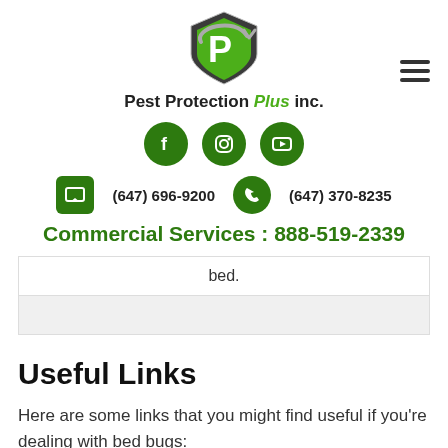[Figure (logo): Pest Protection Plus Inc. logo — green shield with stylized P, circular arrow around it]
Pest Protection Plus inc.
[Figure (infographic): Social media icons: Facebook, Instagram, YouTube — dark green circles]
(647) 696-9200   (647) 370-8235
Commercial Services : 888-519-2339
bed.
Useful Links
Here are some links that you might find useful if you're dealing with bed bugs: